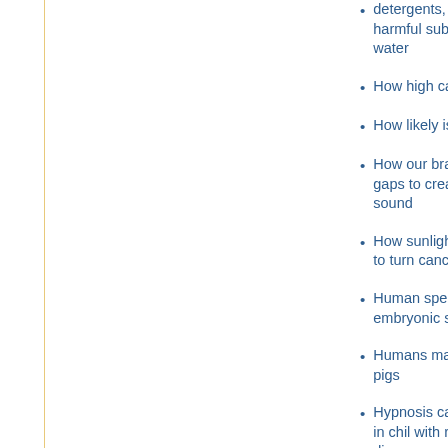detergents, shampoos may f… harmful substanc… waste water
How high can a climber go?
How likely is misdiagnosis?
How our brains c… fill in the gaps to create continuou… sound
How sunlight cau… skin cells to turn cancerous
Human sperm created from embryonic stem c…
Humans may giv… swine flu to pigs
Hypnosis can rel… symptoms in chil… with respiratory diseases
IBS patients not c…